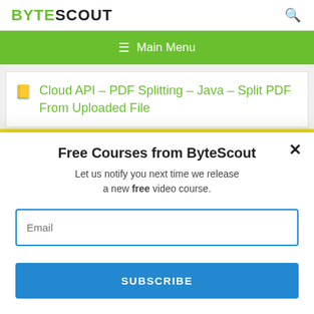BYTESCOUT
≡ Main Menu
Cloud API – PDF Splitting – Java – Split PDF From Uploaded File
This website uses cookies. Cookies are used to personalize content, analyze traffic, provide social media features, display ads. We also share
Free Courses from ByteScout
Let us notify you next time we release a new free video course.
Email
SUBSCRIBE